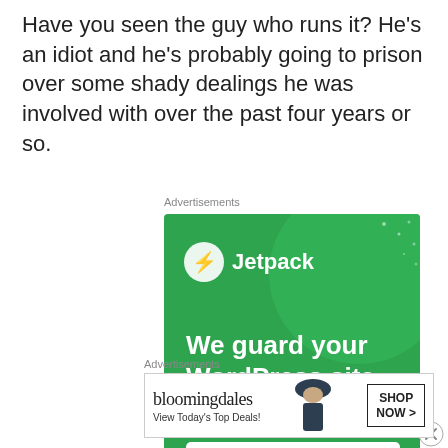Have you seen the guy who runs it? He's an idiot and he's probably going to prison over some shady dealings he was involved with over the past four years or so.
Advertisements
[Figure (screenshot): Jetpack advertisement: green background with large circle, Jetpack logo and lightning bolt icon, text 'We guard your WordPress site. You run your business.' with a 'Secure Your Site' button]
[Figure (screenshot): Close/dismiss button (X in circle)]
Advertisements
[Figure (screenshot): Bloomingdale's advertisement showing logo, 'View Today's Top Deals!', a woman in a wide-brim hat, and a 'SHOP NOW >' button]